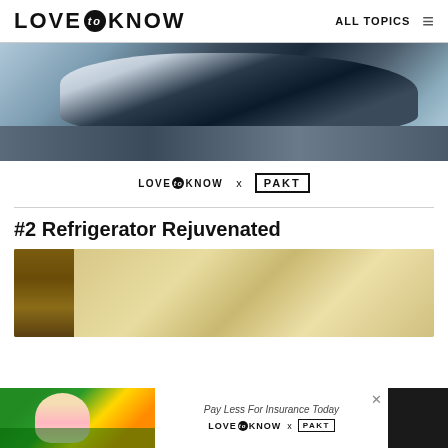LOVE to KNOW   ALL TOPICS
[Figure (photo): Close-up photo of a dark car roof/sunroof area with snow-covered trees reflected or visible in the background]
[Figure (logo): LoveToKnow x PAKT partnership logo]
#2 Refrigerator Rejuvenated
[Figure (photo): Partial photo of a refrigerator or kitchen area with wooden cabinet visible on left and beige/cream tones]
[Figure (infographic): Advertisement banner at bottom: Pay Less For Insurance Today - LoveToKnow x PAKT, with a woman in pink top on dark background on the left side]